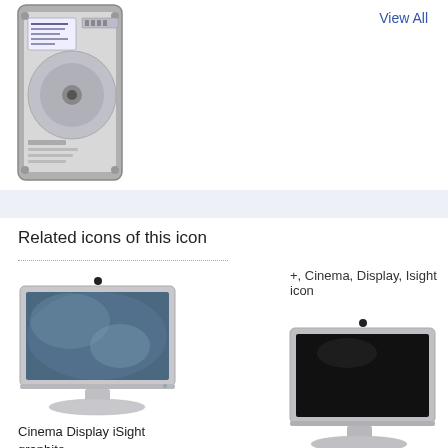[Figure (illustration): Hard drive icon, top portion visible]
View All
Related icons of this icon
+, Cinema, Display, Isight icon
[Figure (illustration): Cinema Display iSight graphite icon - monitor with camera on top, blue/silver screen on stand]
Cinema Display iSight graphite icon
[Figure (illustration): Cinema Display iSight icon - monitor with camera on top, dark/black screen on silver stand]
Cinema Display iSight icon
[Figure (illustration): Bottom-left monitor icon, partially visible, blue screen]
[Figure (illustration): Bottom-right monitor icon, partially visible, dark screen]